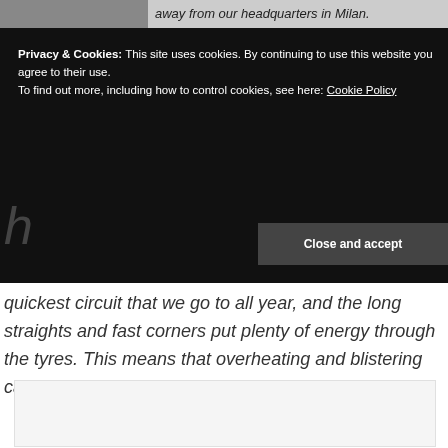[Figure (photo): Partial photo strip at top of page, left side showing a dark image, right side showing italic text partially cut off: 'away from our headquarters in Milan.']
Privacy & Cookies: This site uses cookies. By continuing to use this website you agree to their use.
To find out more, including how to control cookies, see here: Cookie Policy
Close and accept
quickest circuit that we go to all year, and the long straights and fast corners put plenty of energy through the tyres. This means that overheating and blistering can be a problem if not controlled.